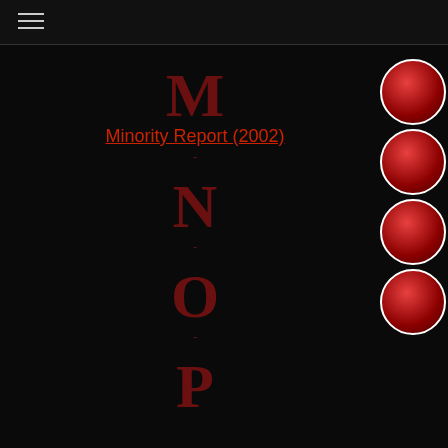≡
M
Minority Report (2002)
-
N
-
O
-
P
Pulp Fiction (199-)
[Figure (illustration): Four red circular navigation buttons stacked vertically on the right side of the page, each with a white border and a red radial gradient fill.]